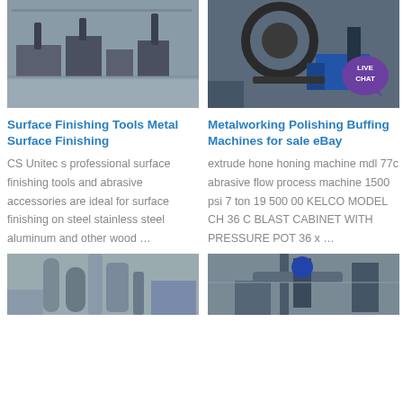[Figure (photo): Aerial view of industrial metalworking equipment/machinery facility outdoors]
[Figure (photo): Close-up of heavy metalworking machinery with a LIVE CHAT badge overlay]
Surface Finishing Tools Metal Surface Finishing
Metalworking Polishing Buffing Machines for sale eBay
CS Unitec s professional surface finishing tools and abrasive accessories are ideal for surface finishing on steel stainless steel aluminum and other wood …
extrude hone honing machine mdl 77c abrasive flow process machine 1500 psi 7 ton 19 500 00 KELCO MODEL CH 36 C BLAST CABINET WITH PRESSURE POT 36 x …
[Figure (photo): Industrial piping and equipment at manufacturing facility]
[Figure (photo): Industrial crane or heavy equipment at manufacturing facility]